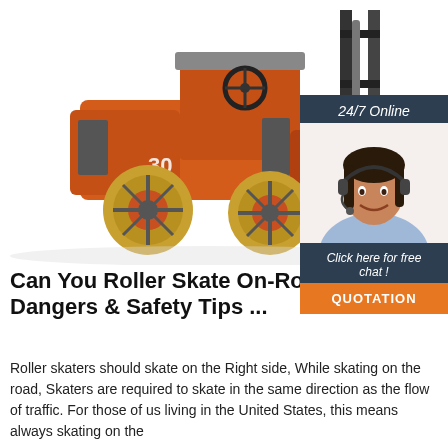[Figure (photo): Orange forklift (model 30) on white background, viewed from the left side, with forks raised slightly and counterweight visible at rear.]
[Figure (infographic): Chat widget banner: dark navy background with '24/7 Online' text at top, photo of smiling woman with headset, 'Click here for free chat!' text, and orange QUOTATION button at bottom.]
Can You Roller Skate On-Road? – Dangers & Safety Tips ...
Roller skaters should skate on the Right side, While skating on the road, Skaters are required to skate in the same direction as the flow of traffic. For those of us living in the United States, this means always skating on the